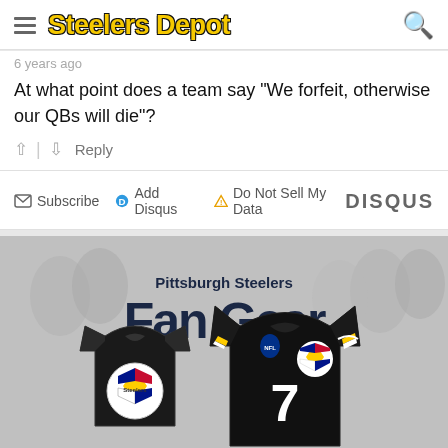Steelers Depot
6 years ago
At what point does a team say "We forfeit, otherwise our QBs will die"?
↑ | ↓   Reply
✉ Subscribe  ⓓ Add Disqus  ⚠ Do Not Sell My Data   DISQUS
[Figure (photo): Pittsburgh Steelers Fan Gear advertisement banner showing two black Steelers jerseys (a t-shirt and a #7 game jersey) against a grey crowd background. Text reads 'Pittsburgh Steelers Fan Gear'.]